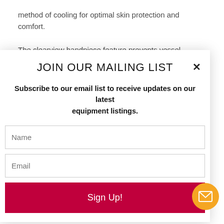method of cooling for optimal skin protection and comfort.
​The ​clearview​ handpiece feature prevents vessel
JOIN OUR MAILING LIST
Subscribe to our email list to receive updates on our latest equipment listings.
Name
Email
Sign Up!
production.
​Improves wrinkles by gently heating the dermis; corrects diffuse redness, rosacea; smoothes skin texture, shrinks